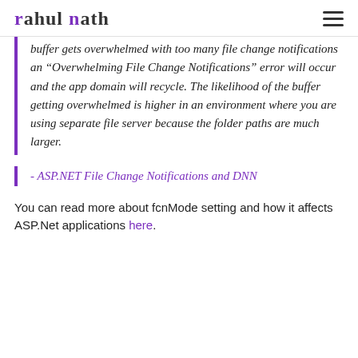rahul nath
buffer gets overwhelmed with too many file change notifications an “Overwhelming File Change Notifications” error will occur and the app domain will recycle. The likelihood of the buffer getting overwhelmed is higher in an environment where you are using separate file server because the folder paths are much larger.
- ASP.NET File Change Notifications and DNN
You can read more about fcnMode setting and how it affects ASP.Net applications here.